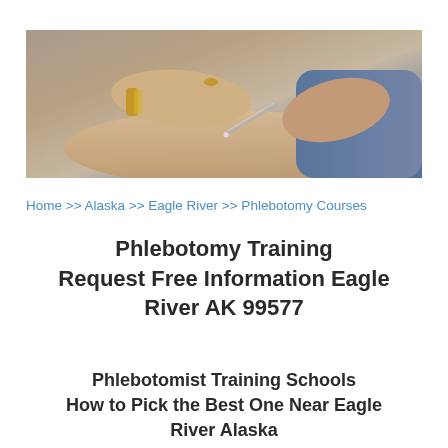[Figure (photo): Close-up photograph of hands performing a phlebotomy procedure — a gloved healthcare worker holding a needle/cannula inserted into a patient's arm, with the patient wearing a gold bracelet.]
Home >> Alaska >> Eagle River >> Phlebotomy Courses
Phlebotomy Training Request Free Information Eagle River AK 99577
Phlebotomist Training Schools How to Pick the Best One Near Eagle River Alaska